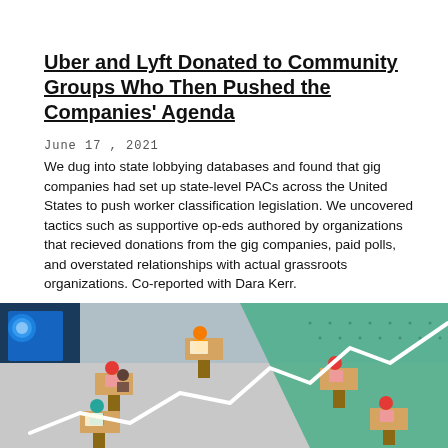Uber and Lyft Donated to Community Groups Who Then Pushed the Companies' Agenda
June 17, 2021
We dug into state lobbying databases and found that gig companies had set up state-level PACs across the United States to push worker classification legislation. We uncovered tactics such as supportive op-eds authored by organizations that recieved donations from the gig companies, paid polls, and overstated relationships with actual grassroots organizations. Co-reported with Dara Kerr.
[Figure (illustration): Isometric illustration showing people seated at desks in a classroom or office setting, with a white zigzag line (like a stock chart) overlaid on the scene, set against a teal/green background.]